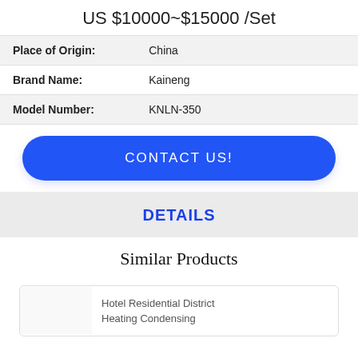US $10000~$15000 /Set
| Place of Origin: | China |
| Brand Name: | Kaineng |
| Model Number: | KNLN-350 |
CONTACT US!
DETAILS
Similar Products
Hotel Residential District Heating Condensing